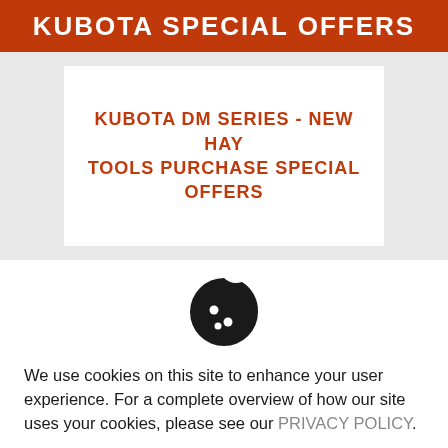KUBOTA SPECIAL OFFERS
KUBOTA DM SERIES - NEW HAY TOOLS PURCHASE SPECIAL OFFERS
[Figure (illustration): Cookie icon — a round cookie with a bite taken out of the top-right and three small dots on its surface]
We use cookies on this site to enhance your user experience. For a complete overview of how our site uses your cookies, please see our PRIVACY POLICY.
HIDE MESSAGE